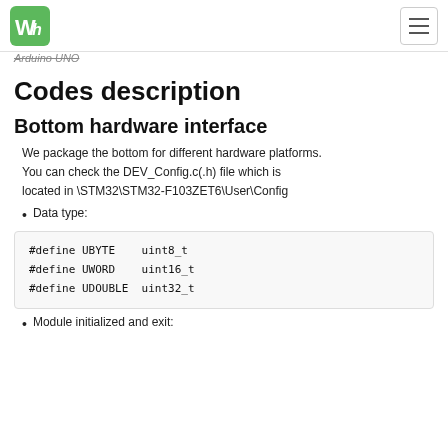Arduino UNO
Codes description
Bottom hardware interface
We package the bottom for different hardware platforms. You can check the DEV_Config.c(.h) file which is located in \STM32\STM32-F103ZET6\User\Config
Data type:
#define UBYTE    uint8_t
#define UWORD    uint16_t
#define UDOUBLE  uint32_t
Module initialized and exit: